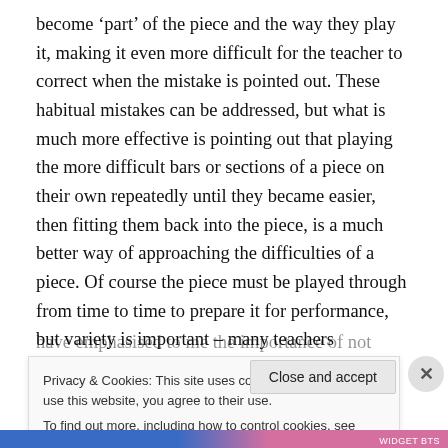become 'part' of the piece and the way they play it, making it even more difficult for the teacher to correct when the mistake is pointed out. These habitual mistakes can be addressed, but what is much more effective is pointing out that playing the more difficult bars or sections of a piece on their own repeatedly until they became easier, then fitting them back into the piece, is a much better way of approaching the difficulties of a piece. Of course the piece must be played through from time to time to prepare it for performance, but variety is important – many teachers have emphasised to me the importance of not always
Privacy & Cookies: This site uses cookies. By continuing to use this website, you agree to their use.
To find out more, including how to control cookies, see here: Cookie Policy
Close and accept